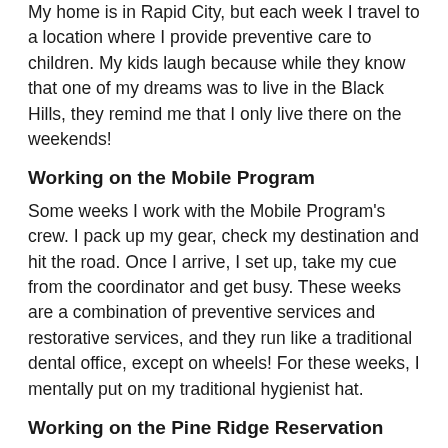My home is in Rapid City, but each week I travel to a location where I provide preventive care to children. My kids laugh because while they know that one of my dreams was to live in the Black Hills, they remind me that I only live there on the weekends!
Working on the Mobile Program
Some weeks I work with the Mobile Program's crew. I pack up my gear, check my destination and hit the road. Once I arrive, I set up, take my cue from the coordinator and get busy. These weeks are a combination of preventive services and restorative services, and they run like a traditional dental office, except on wheels! For these weeks, I mentally put on my traditional hygienist hat.
Working on the Pine Ridge Reservation
Other weeks, I travel to a location on the Pine Ridge Reservation. On those weeks I head out of Rapid City with my car packed, lodging reservations made and down the road I go. At those sites, I work and do...